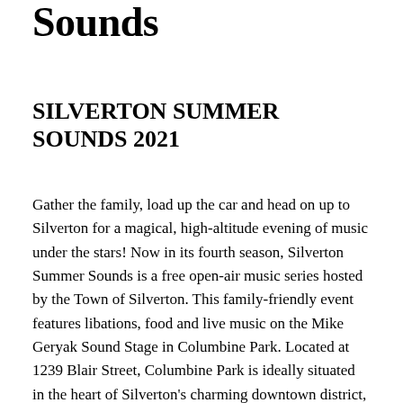Sounds
SILVERTON SUMMER SOUNDS 2021
Gather the family, load up the car and head on up to Silverton for a magical, high-altitude evening of music under the stars! Now in its fourth season, Silverton Summer Sounds is a free open-air music series hosted by the Town of Silverton. This family-friendly event features libations, food and live music on the Mike Geryak Sound Stage in Columbine Park. Located at 1239 Blair Street, Columbine Park is ideally situated in the heart of Silverton's charming downtown district, within an easy stroll of myriad hotels, shops and restaurants. Concerts take place at 6 pm every 3rd Friday of the month from June through September (6/18, 7/16, 8/20, 9/17), with two high-caliber musical acts at each show. For